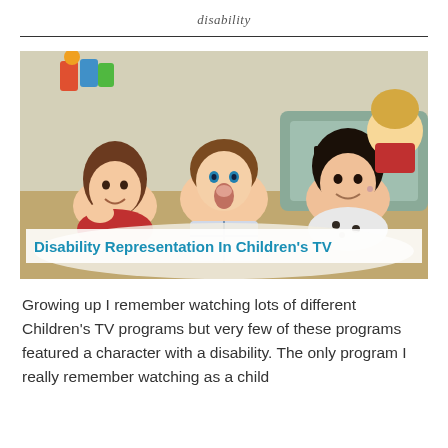disability
[Figure (photo): Three young children lying on the floor smiling and watching TV. A banner overlaid on the image reads 'Disability Representation In Children's TV' in bold teal/blue text on a white background.]
Growing up I remember watching lots of different Children's TV programs but very few of these programs featured a character with a disability. The only program I really remember watching as a child